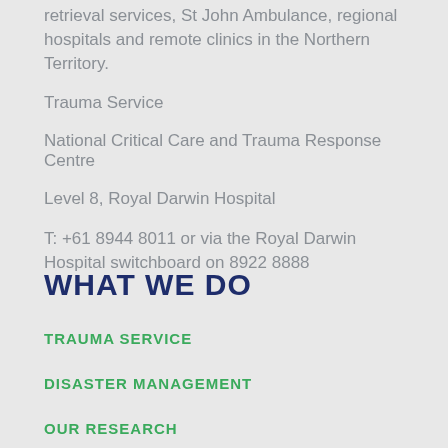retrieval services, St John Ambulance, regional hospitals and remote clinics in the Northern Territory.
Trauma Service
National Critical Care and Trauma Response Centre
Level 8, Royal Darwin Hospital
T: +61 8944 8011 or via the Royal Darwin Hospital switchboard on 8922 8888
WHAT WE DO
TRAUMA SERVICE
DISASTER MANAGEMENT
OUR RESEARCH